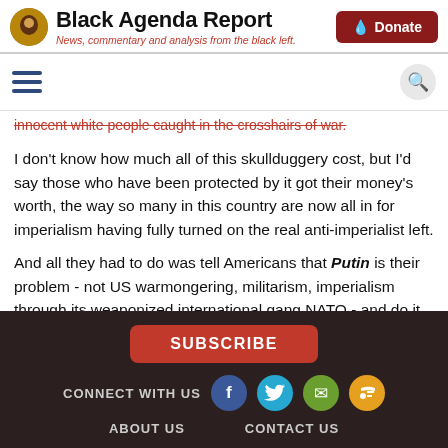Black Agenda Report — News, commentary and analysis from the black left.
innocent white people caught in the crosshairs of war.
I don't know how much all of this skullduggery cost, but I'd say those who have been protected by it got their money's worth, the way so many in this country are now all in for imperialism having fully turned on the real anti-imperialist left.
And all they had to do was tell Americans that Putin is their problem - not US warmongering, militarism, imperialism through its weaponized international gang NATO - and do it
SUBSCRIBE | CONNECT WITH US | ABOUT US | CONTACT US